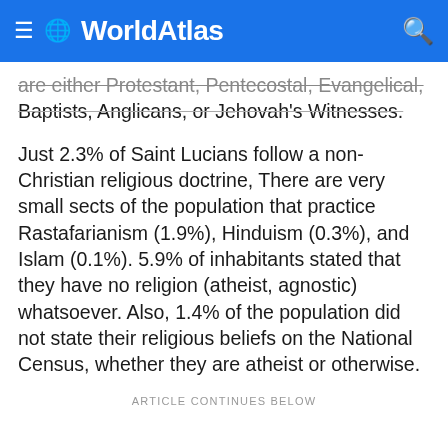WorldAtlas
are either Protestant, Pentecostal, Evangelical, Baptists, Anglicans, or Jehovah's Witnesses.
Just 2.3% of Saint Lucians follow a non-Christian religious doctrine, There are very small sects of the population that practice Rastafarianism (1.9%), Hinduism (0.3%), and Islam (0.1%). 5.9% of inhabitants stated that they have no religion (atheist, agnostic) whatsoever. Also, 1.4% of the population did not state their religious beliefs on the National Census, whether they are atheist or otherwise.
ARTICLE CONTINUES BELOW